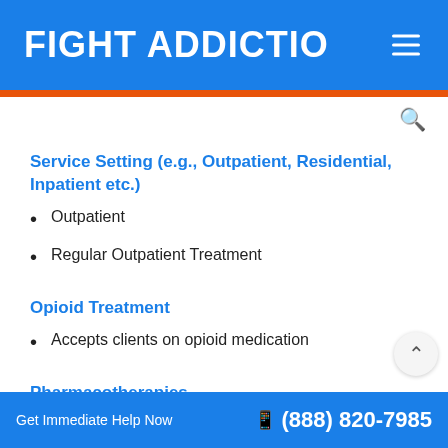FIGHT ADDICTIO
Service Setting (e.g., Outpatient, Residential, Inpatient etc.)
Outpatient
Regular Outpatient Treatment
Opioid Treatment
Accepts clients on opioid medication
Pharmacotherapies
Get Immediate Help Now  (888) 820-7985